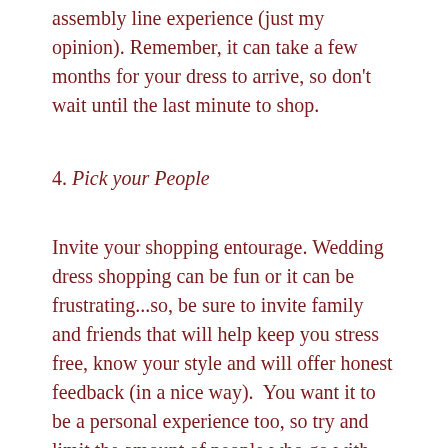assembly line experience (just my opinion). Remember, it can take a few months for your dress to arrive, so don't wait until the last minute to shop.
4. Pick your People
Invite your shopping entourage. Wedding dress shopping can be fun or it can be frustrating...so, be sure to invite family and friends that will help keep you stress free, know your style and will offer honest feedback (in a nice way).  You want it to be a personal experience too, so try and limit the amount of people who go with you. Another reason you want to limit the number is because many Boutiques do not have the space to accommodate a large group.
5. Be Open